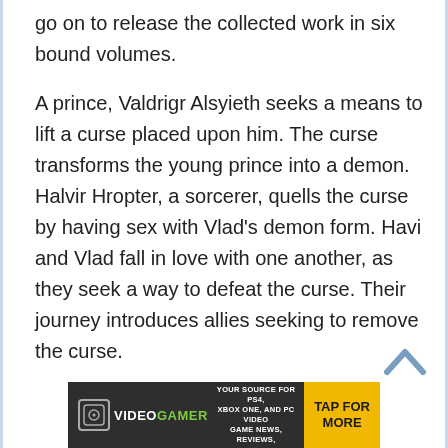go on to release the collected work in six bound volumes.
A prince, Valdrigr Alsyieth seeks a means to lift a curse placed upon him. The curse transforms the young prince into a demon. Halvir Hropter, a sorcerer, quells the curse by having sex with Vlad's demon form. Havi and Vlad fall in love with one another, as they seek a way to defeat the curse. Their journey introduces allies seeking to remove the curse.
[Figure (other): Scroll-up chevron arrow button in blue/grey]
[Figure (other): VideoGamer advertisement banner: dark background, VideoGamer logo on left, center text 'YOUR SOURCE FOR PS4, XBOX ONE, AND PC VIDEO GAME NEWS, REVIEWS,' and yellow 'TAP FOR MORE' button on right]